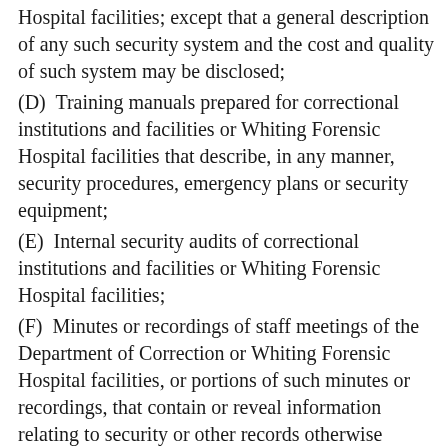Hospital facilities; except that a general description of any such security system and the cost and quality of such system may be disclosed;
(D)  Training manuals prepared for correctional institutions and facilities or Whiting Forensic Hospital facilities that describe, in any manner, security procedures, emergency plans or security equipment;
(E)  Internal security audits of correctional institutions and facilities or Whiting Forensic Hospital facilities;
(F)  Minutes or recordings of staff meetings of the Department of Correction or Whiting Forensic Hospital facilities, or portions of such minutes or recordings, that contain or reveal information relating to security or other records otherwise exempt from disclosure under this subdivision;
(G)  Logs or other documents that contain information on the movement or assignment of inmates or staff at correctional institutions or facilities; and
(H)  Records that contain information on contacts